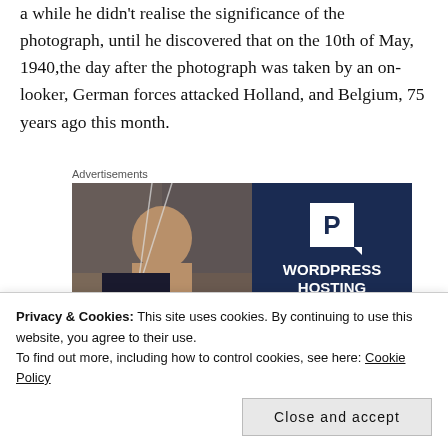a while he didn't realise the significance of the photograph, until he discovered that on the 10th of May, 1940,the day after the photograph was taken by an on-looker, German forces attacked Holland, and Belgium,  75 years ago this month.
Advertisements
[Figure (other): WordPress Hosting advertisement banner with person holding an OPEN sign on the left half, and dark navy right half showing a 'P' logo and the text WORDPRESS HOSTING]
Privacy & Cookies:  This site uses cookies. By continuing to use this website, you agree to their use.
To find out more, including how to control cookies, see here: Cookie Policy
Close and accept